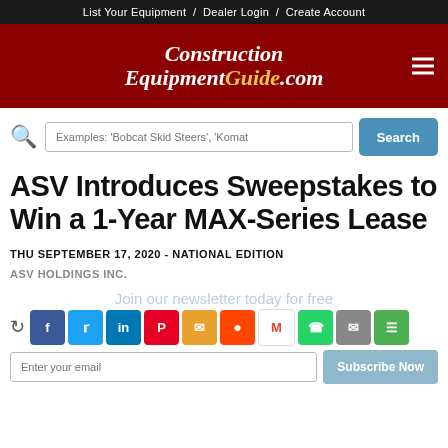List Your Equipment / Dealer Login / Create Account
[Figure (logo): ConstructionEquipmentGuide.com logo on dark red background with hamburger menu icon]
Examples: 'Bobcat Skid Steers', 'Komat Search
ASV Introduces Sweepstakes to Win a 1-Year MAX-Series Lease
THU SEPTEMBER 17, 2020 - NATIONAL EDITION
ASV HOLDINGS INC.
Join our newsletter today for free
Social share buttons: Facebook, Twitter, LinkedIn, Pinterest, Messenger, Reddit, Gmail, WhatsApp, Email, Menu
Enter your email  Subscribe Now